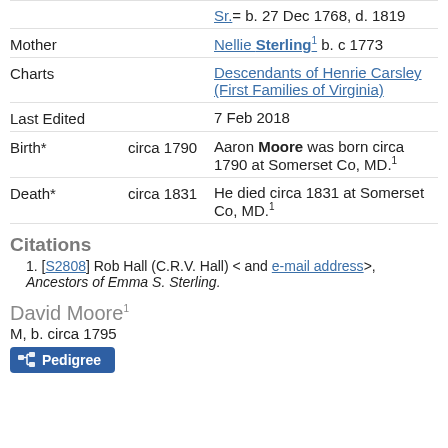Sr.= b. 27 Dec 1768, d. 1819
Mother   Nellie Sterling¹ b. c 1773
Charts   Descendants of Henrie Carsley (First Families of Virginia)
Last Edited   7 Feb 2018
Birth*   circa 1790   Aaron Moore was born circa 1790 at Somerset Co, MD.¹
Death*   circa 1831   He died circa 1831 at Somerset Co, MD.¹
Citations
1. [S2808] Rob Hall (C.R.V. Hall) < and e-mail address>, Ancestors of Emma S. Sterling.
David Moore¹
M, b. circa 1795
Pedigree